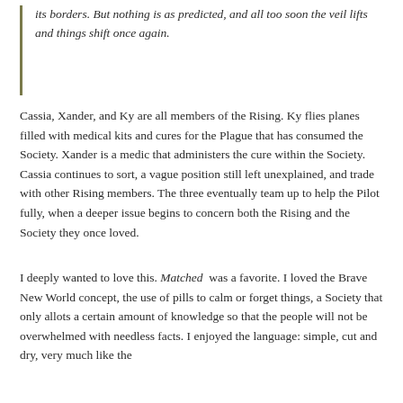its borders. But nothing is as predicted, and all too soon the veil lifts and things shift once again.
Cassia, Xander, and Ky are all members of the Rising. Ky flies planes filled with medical kits and cures for the Plague that has consumed the Society. Xander is a medic that administers the cure within the Society. Cassia continues to sort, a vague position still left unexplained, and trade with other Rising members. The three eventually team up to help the Pilot fully, when a deeper issue begins to concern both the Rising and the Society they once loved.
I deeply wanted to love this. Matched was a favorite. I loved the Brave New World concept, the use of pills to calm or forget things, a Society that only allots a certain amount of knowledge so that the people will not be overwhelmed with needless facts. I enjoyed the language: simple, cut and dry, very much like the